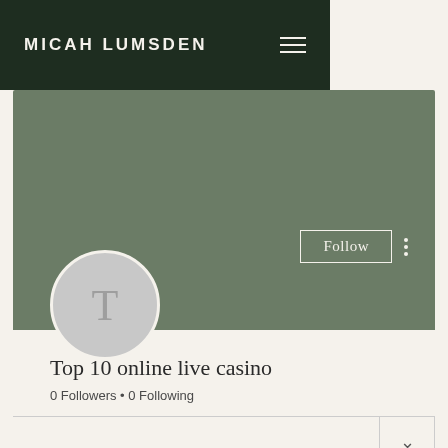MICAH LUMSDEN
[Figure (screenshot): User profile page with green banner, circular avatar with letter T, Follow button, and three-dot menu]
Top 10 online live casino
0 Followers • 0 Following
Profile
Join date: May 29, 2022